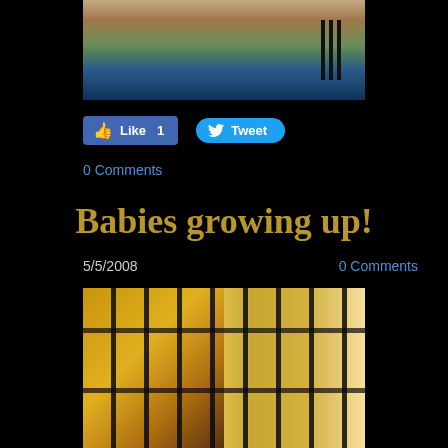[Figure (photo): Partial photo showing a person's neck/shoulder area wearing a green jacket with a beaded necklace, against a teal/blue striped background]
[Figure (screenshot): Facebook Like button showing count of 1 and Twitter Tweet button]
0 Comments
Babies growing up!
5/5/2008
0 Comments
[Figure (photo): Photo of animals (likely baby animals) inside a cage with dark metal bars, yellow/golden fabric or material visible in background, light from window on right side]